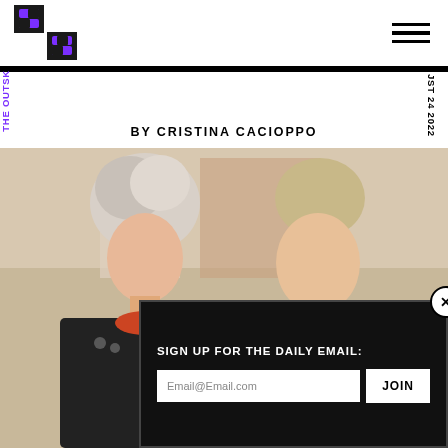THE OUTSKIRTS — AUGUST 24 2022
[Figure (logo): Stylized double-S logo in black and purple]
BY CRISTINA CACIOPPO
[Figure (photo): 1980s style photo of a young woman with teased blond hair in a leather jacket and a young man in a denim jacket, outdoors with colorful background]
SIGN UP FOR THE DAILY EMAIL:
Email@Email.com
JOIN